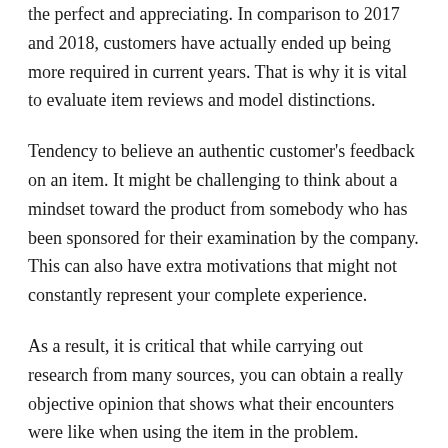the perfect and appreciating. In comparison to 2017 and 2018, customers have actually ended up being more required in current years. That is why it is vital to evaluate item reviews and model distinctions.
Tendency to believe an authentic customer's feedback on an item. It might be challenging to think about a mindset toward the product from somebody who has been sponsored for their examination by the company. This can also have extra motivations that might not constantly represent your complete experience.
As a result, it is critical that while carrying out research from many sources, you can obtain a really objective opinion that shows what their encounters were like when using the item in the problem.